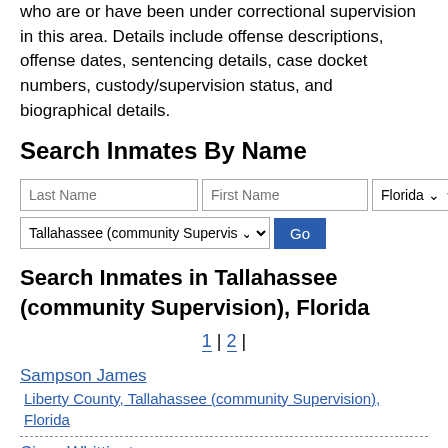who are or have been under correctional supervision in this area. Details include offense descriptions, offense dates, sentencing details, case docket numbers, custody/supervision status, and biographical details.
Search Inmates By Name
Search form with Last Name, First Name, Florida state selector, Tallahassee (community Supervision) city selector, and Go button.
Search Inmates in Tallahassee (community Supervision), Florida
1 | 2 |
Sampson James — Liberty County, Tallahassee (community Supervision), Florida
Cisco Whittington — Liberty County, Tallahassee (community Supervision), Florida